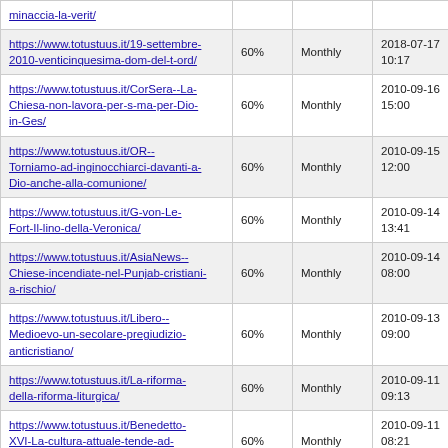| URL | Priority | Change Freq | Last Modified |
| --- | --- | --- | --- |
| https://www.totustuus.it/19-settembre-2010-venticinquesima-dom-del-t-ord/ | 60% | Monthly | 2018-07-17 10:17 |
| https://www.totustuus.it/CorSera--La-Chiesa-non-lavora-per-s-ma-per-Dio-in-Ges/ | 60% | Monthly | 2010-09-16 15:00 |
| https://www.totustuus.it/OR--Torniamo-ad-inginocchiarci-davanti-a-Dio-anche-alla-comunione/ | 60% | Monthly | 2010-09-15 12:00 |
| https://www.totustuus.it/G-von-Le-Fort-Il-lino-della-Veronica/ | 60% | Monthly | 2010-09-14 13:41 |
| https://www.totustuus.it/AsiaNews--Chiese-incendiate-nel-Punjab-cristiani-a-rischio/ | 60% | Monthly | 2010-09-14 08:00 |
| https://www.totustuus.it/Libero--Medioevo-un-secolare-pregiudizio-anticristiano/ | 60% | Monthly | 2010-09-13 09:00 |
| https://www.totustuus.it/La-riforma-della-riforma-liturgica/ | 60% | Monthly | 2010-09-11 09:13 |
| https://www.totustuus.it/Benedetto-XVI-La-cultura-attuale-tende-ad-escludere-Dio/ | 60% | Monthly | 2010-09-11 08:21 |
| https://www.totustuus.it/12-settembre-Nuovo-ebook-gratuito/ | 60% | Monthly | 2010-09-09 21:29 |
| https://www.totustuus.it/12-settembre-2010-ventiquattresima-dom-del-t-ord/ | 60% | Monthly | 2018-07-17 10:17 |
| https://www.totustuus.it/Vaticano--I- | 60% | Monthly | 2010-09-09 |